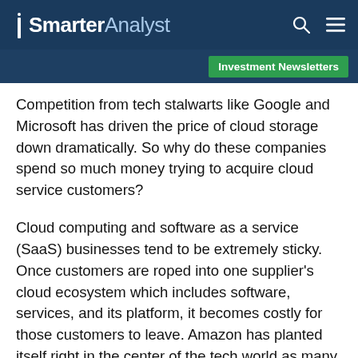SmarterAnalyst
Investment Newsletters
Competition from tech stalwarts like Google and Microsoft has driven the price of cloud storage down dramatically. So why do these companies spend so much money trying to acquire cloud service customers?
Cloud computing and software as a service (SaaS) businesses tend to be extremely sticky. Once customers are roped into one supplier's cloud ecosystem which includes software, services, and its platform, it becomes costly for those customers to leave. Amazon has planted itself right in the center of the tech world as many startups depend on AWS.